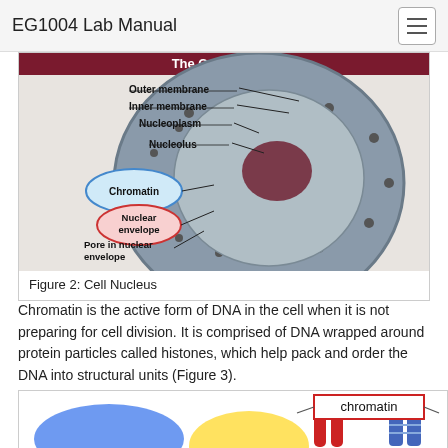EG1004 Lab Manual
[Figure (illustration): Diagram of the cell nucleus showing outer membrane, inner membrane, nucleoplasm, nucleolus, chromatin (highlighted in blue ellipse), nuclear envelope (highlighted in red ellipse), and pore in nuclear envelope. The nucleus is shown as a cutaway gray sphere with dark spots on surface.]
Figure 2: Cell Nucleus
Chromatin is the active form of DNA in the cell when it is not preparing for cell division. It is comprised of DNA wrapped around protein particles called histones, which help pack and order the DNA into structural units (Figure 3).
[Figure (illustration): Partial view of a colorful diagram showing chromatin and DNA structural units. A labeled box reading 'chromatin' is visible in the upper right, with lines pointing to structures. Colorful shapes including blue, yellow, and red forms are visible at the bottom.]